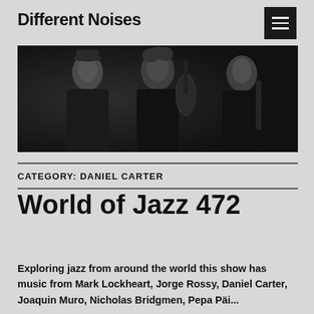Different Noises
[Figure (photo): Black and white photo of three musicians posing together, one with a cello or bass instrument, against a dark background.]
CATEGORY: DANIEL CARTER
World of Jazz 472
Exploring jazz from around the world this show has music from Mark Lockheart, Jorge Rossy, Daniel Carter, Joaquin Muro, Nicholas Bridgmen, Pepa Päi...